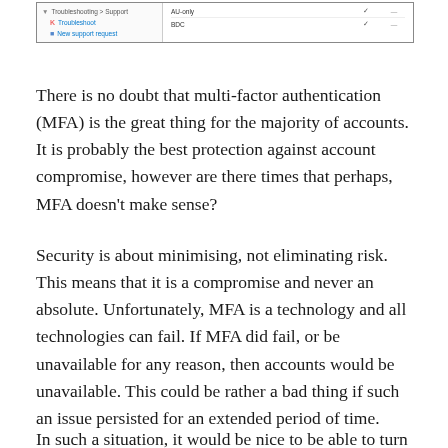[Figure (screenshot): Screenshot of a settings or admin interface showing a navigation sidebar on the left with items: 'Troubleshooting > Support', 'Troubleshoot', 'New support request'; and on the right a table with rows 'AU-only' and 'BDC', each with a checkmark and dashes in columns.]
There is no doubt that multi-factor authentication (MFA) is the great thing for the majority of accounts. It is probably the best protection against account compromise, however are there times that perhaps, MFA doesn't make sense?
Security is about minimising, not eliminating risk. This means that it is a compromise and never an absolute. Unfortunately, MFA is a technology and all technologies can fail. If MFA did fail, or be unavailable for any reason, then accounts would be unavailable. This could be rather a bad thing if such an issue persisted for an extended period of time.
In such a situation, it would be nice to be able to turn off